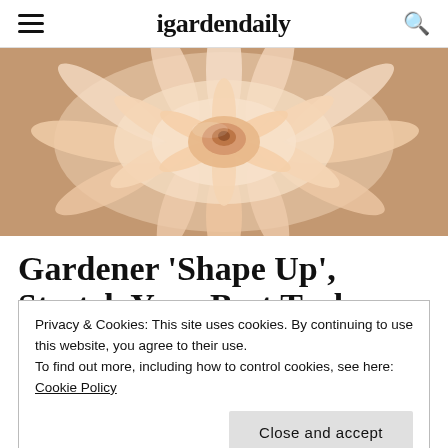igardendaily
[Figure (photo): Close-up of a large pale peach/cream dahlia flower with many petals radiating from the center, on a wooden background.]
Gardener ‘Shape Up’, Stretch Your Best Tools
Privacy & Cookies: This site uses cookies. By continuing to use this website, you agree to their use.
To find out more, including how to control cookies, see here: Cookie Policy
Close and accept